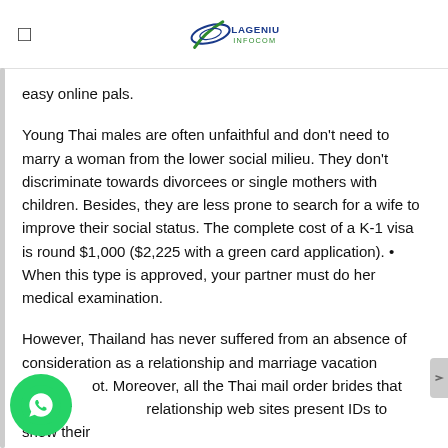Lagenius Infocom logo
easy online pals.
Young Thai males are often unfaithful and don't need to marry a woman from the lower social milieu. They don't discriminate towards divorcees or single mothers with children. Besides, they are less prone to search for a wife to improve their social status. The complete cost of a K-1 visa is round $1,000 ($2,225 with a green card application). • When this type is approved, your partner must do her medical examination.
However, Thailand has never suffered from an absence of consideration as a relationship and marriage vacation spot. Moreover, all the Thai mail order brides that register relationship web sites present IDs to show their